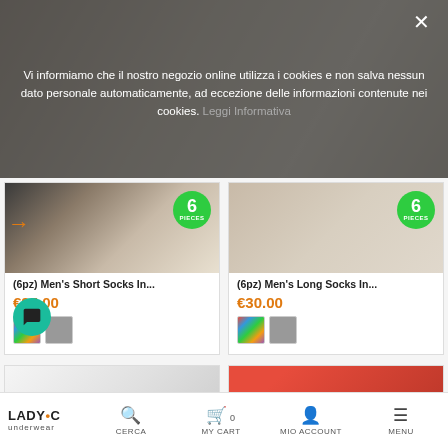[Figure (screenshot): E-commerce website screenshot showing a cookie consent banner overlay on top of a hero image featuring socks products, followed by two product cards and partial third row]
Vi informiamo che il nostro negozio online utilizza i cookies e non salva nessun dato personale automaticamente, ad eccezione delle informazioni contenute nei cookies. Leggi Informativa
(6pz) Men's Short Socks In...
€25.00
(6pz) Men's Long Socks In...
€30.00
LADY•C underwear  CERCA  MY CART 0  MIO ACCOUNT  MENU